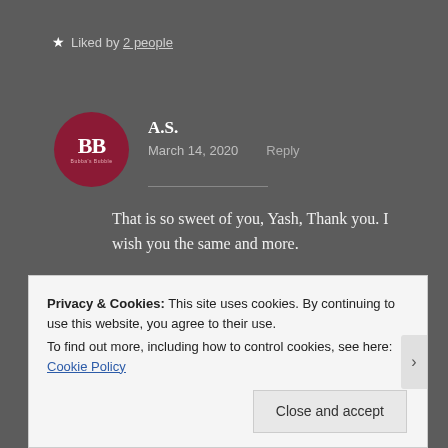★ Liked by 2 people
A.S.
March 14, 2020   Reply
That is so sweet of you, Yash, Thank you. I wish you the same and more.
Privacy & Cookies: This site uses cookies. By continuing to use this website, you agree to their use.
To find out more, including how to control cookies, see here: Cookie Policy
Close and accept